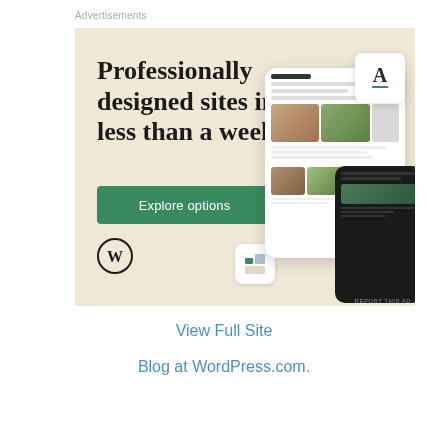Advertisements
[Figure (illustration): WordPress.com advertisement banner. Beige/cream background with large serif text reading 'Professionally designed sites in less than a week', a green 'Explore options' button, WordPress logo, and mockup screenshots of website designs including food photography.]
View Full Site
Blog at WordPress.com.